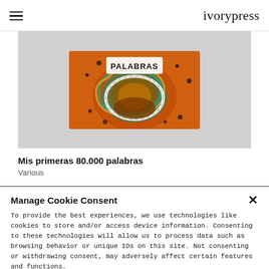ivorypress
[Figure (photo): Book cover for 'Mis primeras 80.000 palabras' showing colorful circular pattern with text PALABRAS on orange background]
Mis primeras 80.000 palabras
Various
Manage Cookie Consent
To provide the best experiences, we use technologies like cookies to store and/or access device information. Consenting to these technologies will allow us to process data such as browsing behavior or unique IDs on this site. Not consenting or withdrawing consent, may adversely affect certain features and functions.